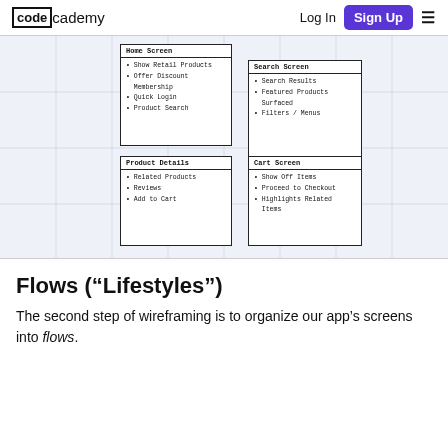codecademy — Log In | Sign Up
[Figure (illustration): Wireframe diagram on a light blue grid background showing four screen boxes: Home Screen (Show Retail Products, Offer Discount Membership, Quick Login, Product Search), Search Screen (Search Results, Featured Products Surfaced, Filters/Menus), Product Details (Related Products, Reviews, Add to Cart), Cart Screen (Show Off Items, Proceed to Checkout, Highlights Related Items)]
Flows (“Lifestyles”)
The second step of wireframing is to organize our app’s screens into flows.